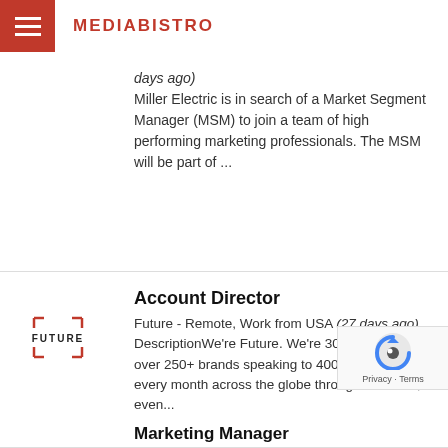MEDIABISTRO
days ago)
Miller Electric is in search of a Market Segment Manager (MSM) to join a team of high performing marketing professionals. The MSM will be part of ...
Account Director
Future - Remote, Work from USA (27 days ago)
DescriptionWe're Future. We're 3000+ colleagues over 250+ brands speaking to 400 million people every month across the globe through websites, even...
Marketing Manager